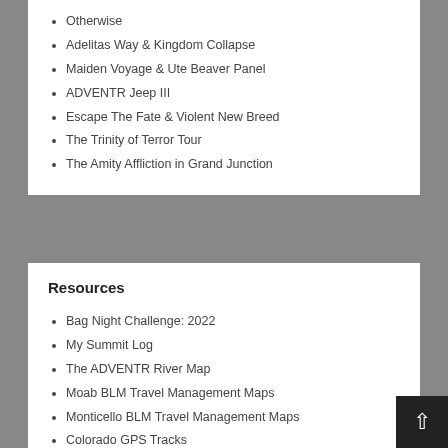Otherwise
Adelitas Way & Kingdom Collapse
Maiden Voyage & Ute Beaver Panel
ADVENTR Jeep III
Escape The Fate & Violent New Breed
The Trinity of Terror Tour
The Amity Affliction in Grand Junction
Resources
Bag Night Challenge: 2022
My Summit Log
The ADVENTR River Map
Moab BLM Travel Management Maps
Monticello BLM Travel Management Maps
Colorado GPS Tracks